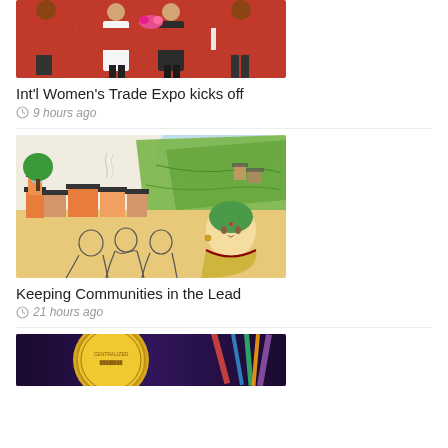[Figure (photo): People in traditional Indian attire on a red carpet stage, likely at a trade expo event]
Int'l Women's Trade Expo kicks off
9 hours ago
[Figure (illustration): Illustration of a Himalayan village with traditional buildings, mountains in background, and figures including a woman in a green headscarf in foreground]
Keeping Communities in the Lead
21 hours ago
[Figure (photo): Close-up of a gold coin, partially visible at bottom of page]